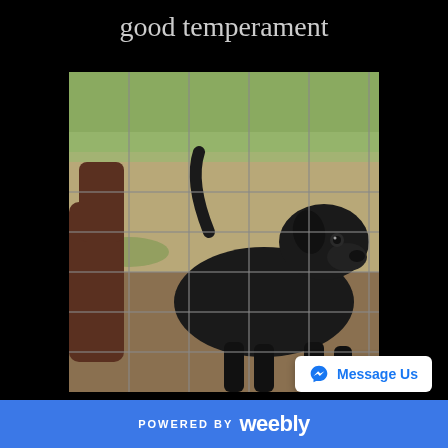good temperament
[Figure (photo): A black Labrador dog standing behind a wire fence in an outdoor pen, with a brown dog partially visible on the left. Grassy and dirt ground visible.]
POWERED BY weebly